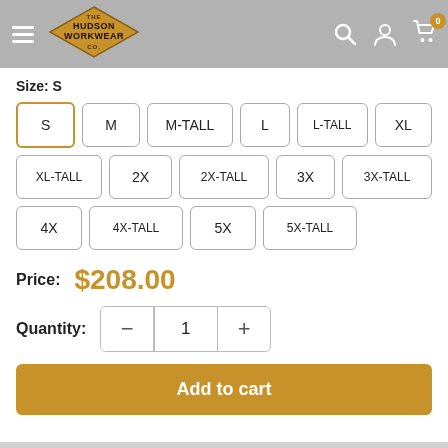[Figure (logo): Hudson Workwear Co. logo in a diamond/rhombus shape, gold/yellow with dark text]
Size: S
S (selected), M, M-TALL, L, L-TALL, XL, XL-TALL, 2X, 2X-TALL, 3X, 3X-TALL, 4X, 4X-TALL, 5X, 5X-TALL
Price: $208.00
Quantity: 1
Add to cart